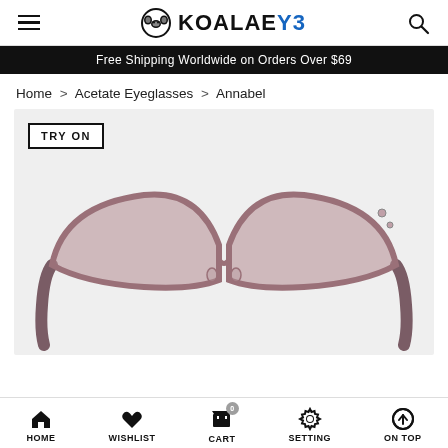KOALAEYE
Free Shipping Worldwide on Orders Over $69
Home > Acetate Eyeglasses > Annabel
[Figure (photo): Product photo of Annabel acetate eyeglasses in a pink/rose transparent frame, cat-eye style, shown from the front on a light gray background. A 'TRY ON' button is overlaid in the top-left corner.]
HOME   WISHLIST   CART   SETTING   ON TOP